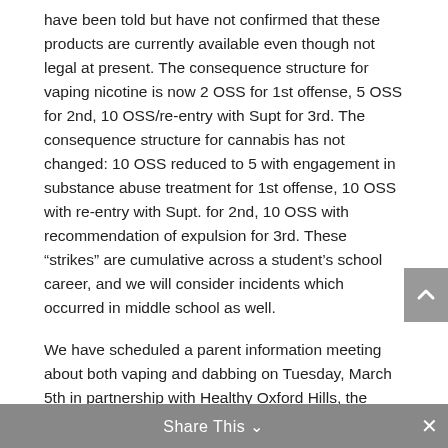have been told but have not confirmed that these products are currently available even though not legal at present. The consequence structure for vaping nicotine is now 2 OSS for 1st offense, 5 OSS for 2nd, 10 OSS/re-entry with Supt for 3rd. The consequence structure for cannabis has not changed: 10 OSS reduced to 5 with engagement in substance abuse treatment for 1st offense, 10 OSS with re-entry with Supt. for 2nd, 10 OSS with recommendation of expulsion for 3rd. These “strikes” are cumulative across a student’s school career, and we will consider incidents which occurred in middle school as well.
We have scheduled a parent information meeting about both vaping and dabbing on Tuesday, March 5th in partnership with Healthy Oxford Hills, the Oxford County Sheriff’s Dept. and the Sacopee Valley Health Center.
Share This ∨